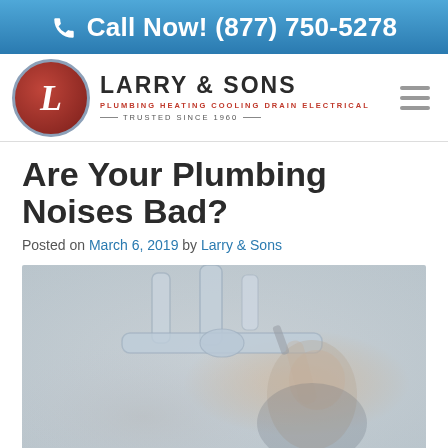Call Now! (877) 750-5278
[Figure (logo): Larry & Sons logo — circular red badge with 'L' initial, company name 'LARRY & SONS', tagline 'PLUMBING HEATING COOLING DRAIN ELECTRICAL', 'TRUSTED SINCE 1960']
Are Your Plumbing Noises Bad?
Posted on March 6, 2019 by Larry & Sons
[Figure (photo): A woman looking up at plumbing pipes under a sink, holding a wrench, faded/blurred styling]